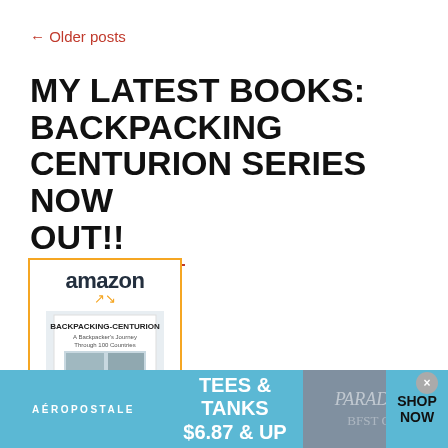← Older posts
MY LATEST BOOKS: BACKPACKING CENTURION SERIES NOW OUT!!
[Figure (screenshot): Amazon product listing image for 'Backpacking Centurion' book, showing Amazon logo with orange arrow, and book cover with travel photos]
Backpacking
[Figure (screenshot): Aéropostale advertisement banner: 'TEES & TANKS $6.87 & UP' with SHOP NOW button, light blue background with photo of clothing]